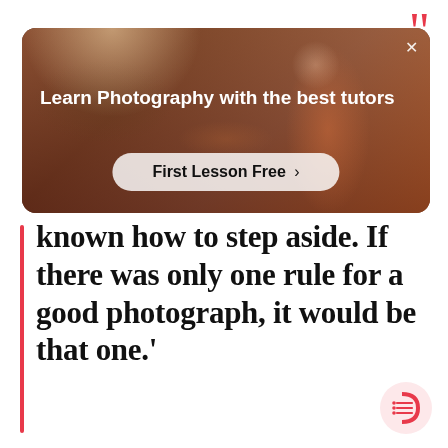[Figure (screenshot): Advertisement banner for photography tutoring service with dark warm-toned background showing a blurred person. Contains headline 'Learn Photography with the best tutors' and a 'First Lesson Free >' call-to-action button. Red quotation marks appear in top-right corner.]
known how to step aside. If there was only one rule for a good photograph, it would be that one.'